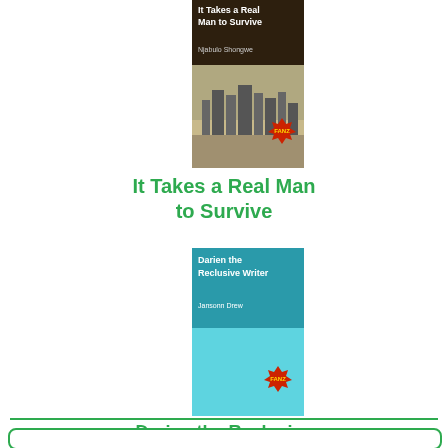[Figure (illustration): Book cover for 'It Takes a Real Man to Survive' by Njabulo Shongwe. Dark brown top band with white bold title text and author name, bottom portion showing a city skyline in muted tones with a red FANZ badge sticker.]
It Takes a Real Man to Survive
[Figure (illustration): Book cover for 'Darien the Reclusive Writer' by Jansonn Drew. Teal/cyan colored cover with white bold title text and author name on a darker teal band at top, lighter cyan lower portion with a red FANZ badge sticker.]
Darien the Reclusive Writer